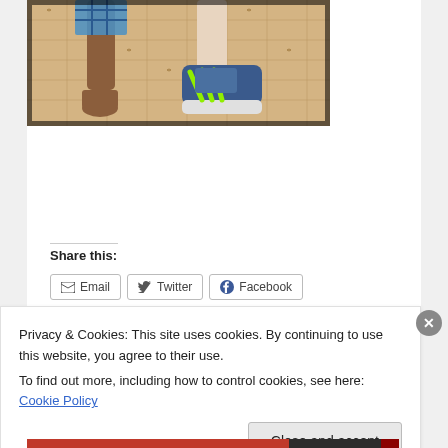[Figure (photo): Close-up photo of two people's legs and feet standing on a tiled floor. One person is barefoot in plaid shorts; the other is wearing blue and green Adidas sneakers.]
Share this:
[Figure (screenshot): Share buttons: Email, Twitter, Facebook]
Privacy & Cookies: This site uses cookies. By continuing to use this website, you agree to their use.
To find out more, including how to control cookies, see here: Cookie Policy
Close and accept